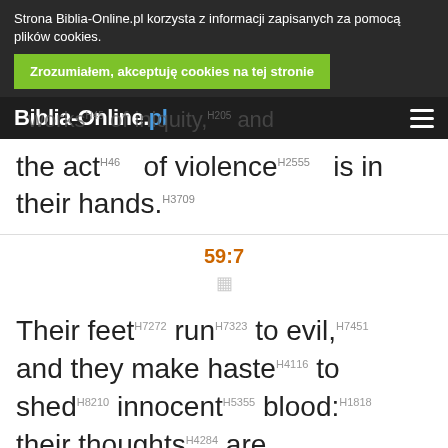Strona Biblia-Online.pl korzysta z informacji zapisanych za pomocą plików cookies. Zrozumiałem, akceptuję cookies na tej stronie
Biblia-Online.pl
works of iniquity, and the act of violence is in their hands. H3709
59:7
Their feet H7272 run H7323 to evil, H7451 and they make haste H4116 to shed H8210 innocent H5355 blood: H1818 their thoughts H4284 are